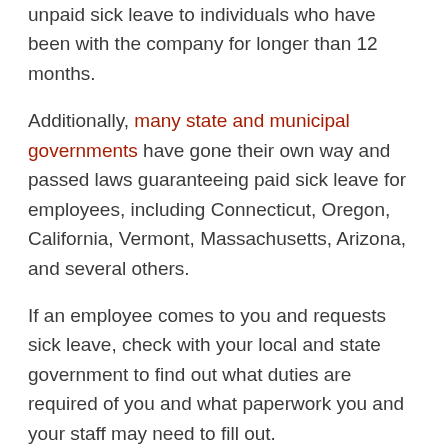more than 50 employees on staff must offer unpaid sick leave to individuals who have been with the company for longer than 12 months.
Additionally, many state and municipal governments have gone their own way and passed laws guaranteeing paid sick leave for employees, including Connecticut, Oregon, California, Vermont, Massachusetts, Arizona, and several others.
If an employee comes to you and requests sick leave, check with your local and state government to find out what duties are required of you and what paperwork you and your staff may need to fill out.
Respect Their Privacy
With respect to physical therapy HR, employers